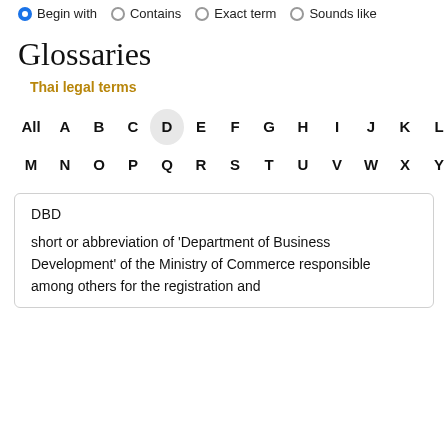Begin with   Contains   Exact term   Sounds like
Glossaries
Thai legal terms
All A B C D E F G H I J K L M N O P Q R S T U V W X Y Z
DBD
short or abbreviation of 'Department of Business Development' of the Ministry of Commerce responsible among others for the registration and